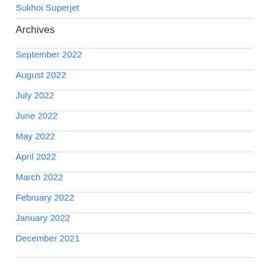Sukhoi Superjet
Archives
September 2022
August 2022
July 2022
June 2022
May 2022
April 2022
March 2022
February 2022
January 2022
December 2021